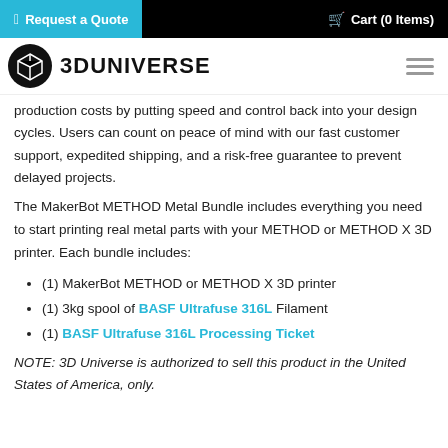Request a Quote  |  Cart (0 Items)
[Figure (logo): 3DUniverse logo: black circle with white geometric icon, followed by bold text '3DUNIVERSE']
production costs by putting speed and control back into your design cycles. Users can count on peace of mind with our fast customer support, expedited shipping, and a risk-free guarantee to prevent delayed projects.
The MakerBot METHOD Metal Bundle includes everything you need to start printing real metal parts with your METHOD or METHOD X 3D printer. Each bundle includes:
(1) MakerBot METHOD or METHOD X 3D printer
(1) 3kg spool of BASF Ultrafuse 316L Filament
(1) BASF Ultrafuse 316L Processing Ticket
NOTE: 3D Universe is authorized to sell this product in the United States of America, only.